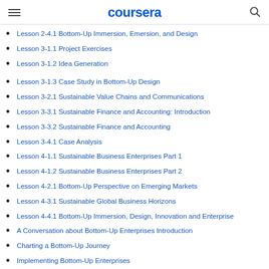coursera
Lesson 2-4.1 Bottom-Up Immersion, Emersion, and Design
Lesson 3-1.1 Project Exercises
Lesson 3-1.2 Idea Generation
Lesson 3-1.3 Case Study in Bottom-Up Design
Lesson 3-2.1 Sustainable Value Chains and Communications
Lesson 3-3.1 Sustainable Finance and Accounting: Introduction
Lesson 3-3.2 Sustainable Finance and Accounting
Lesson 3-4.1 Case Analysis
Lesson 4-1.1 Sustainable Business Enterprises Part 1
Lesson 4-1.2 Sustainable Business Enterprises Part 2
Lesson 4-2.1 Bottom-Up Perspective on Emerging Markets
Lesson 4-3.1 Sustainable Global Business Horizons
Lesson 4-4.1 Bottom-Up Immersion, Design, Innovation and Enterprise
A Conversation about Bottom-Up Enterprises Introduction
Charting a Bottom-Up Journey
Implementing Bottom-Up Enterprises